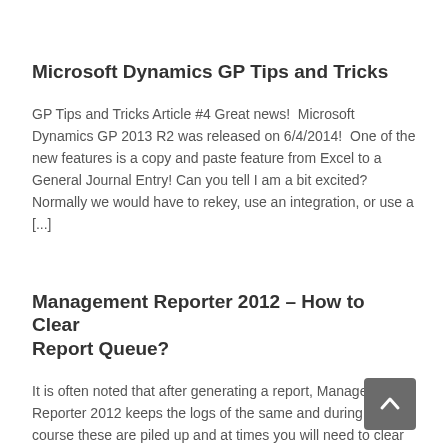Microsoft Dynamics GP Tips and Tricks
GP Tips and Tricks Article #4 Great news!  Microsoft Dynamics GP 2013 R2 was released on 6/4/2014!  One of the new features is a copy and paste feature from Excel to a General Journal Entry!  Can you tell I am a bit excited?  Normally we would have to rekey, use an integration, or use a [...]
Management Reporter 2012 – How to Clear Report Queue?
It is often noted that after generating a report, Management Reporter 2012 keeps the logs of the same and during the course these are piled up and at times you will need to clear these report queues. The below steps will help you to clear the queues. Log in